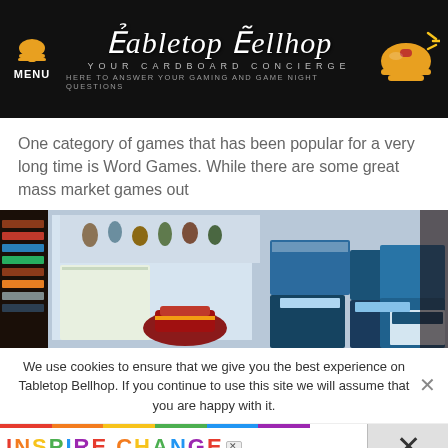Tabletop Bellhop — Your Cardboard Concierge — Here to answer your gaming and game night questions
One category of games that has been popular for a very long time is Word Games. While there are some great mass market games out
[Figure (photo): Photo of a board game store or convention table with various board game boxes and miniatures displayed, including Monster Factory and Treasure Hunter games.]
We use cookies to ensure that we give you the best experience on Tabletop Bellhop. If you continue to use this site we will assume that you are happy with it.
[Figure (infographic): Advertisement banner with rainbow-colored text 'INSPIRE CHANGE' and subtitle 'LOVE COMPASSION CHARITY BELONGING']